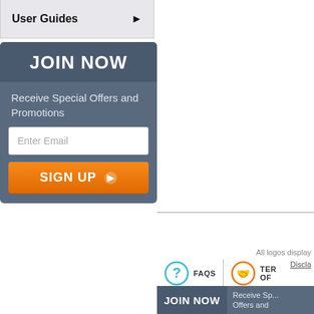User Guides ▶
[Figure (infographic): JOIN NOW signup widget with email input and orange SIGN UP button on a slate-blue background]
All logos display... Discla...
[Figure (infographic): FAQs icon (cyan question mark circle) and TERMS OF (orange handshake circle) footer icons]
[Figure (infographic): Bottom JOIN NOW bar with Receive Sp... Offers and... text]